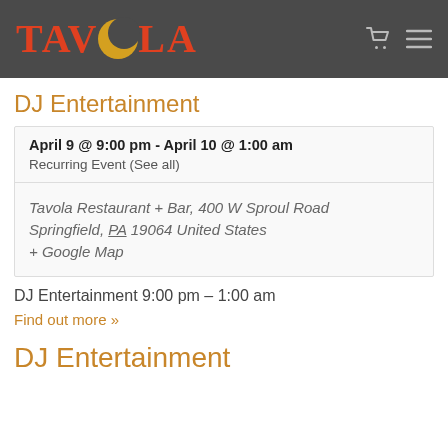TAVOLA
DJ Entertainment
| April 9 @ 9:00 pm - April 10 @ 1:00 am | Recurring Event (See all) |
| Tavola Restaurant + Bar, 400 W Sproul Road
Springfield, PA 19064 United States
+ Google Map |  |
DJ Entertainment 9:00 pm – 1:00 am
Find out more »
DJ Entertainment